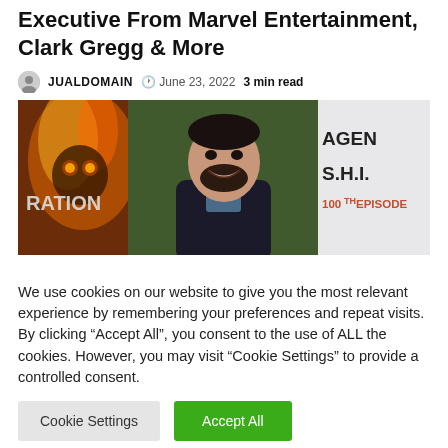Executive From Marvel Entertainment, Clark Gregg & More
JUALDOMAIN  June 23, 2022  3 min read
[Figure (photo): A man smiling at a Marvel Agents of S.H.I.E.L.D. 100th Episode event, with Ghost Rider imagery visible on the left and a step-and-repeat banner on the right.]
We use cookies on our website to give you the most relevant experience by remembering your preferences and repeat visits. By clicking “Accept All”, you consent to the use of ALL the cookies. However, you may visit “Cookie Settings” to provide a controlled consent.
Cookie Settings  Accept All